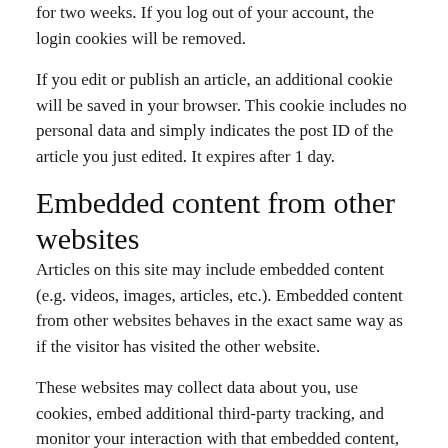for two weeks. If you log out of your account, the login cookies will be removed.
If you edit or publish an article, an additional cookie will be saved in your browser. This cookie includes no personal data and simply indicates the post ID of the article you just edited. It expires after 1 day.
Embedded content from other websites
Articles on this site may include embedded content (e.g. videos, images, articles, etc.). Embedded content from other websites behaves in the exact same way as if the visitor has visited the other website.
These websites may collect data about you, use cookies, embed additional third-party tracking, and monitor your interaction with that embedded content, including tracing your interaction with the embedded content if you have an